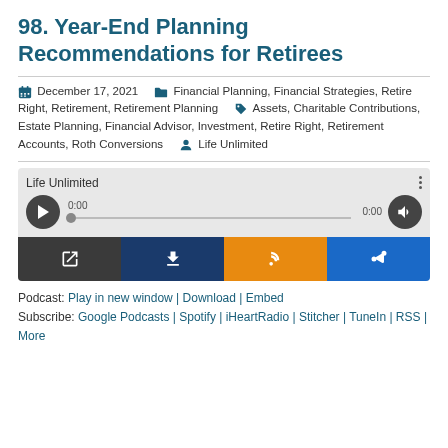98. Year-End Planning Recommendations for Retirees
December 17, 2021   Financial Planning, Financial Strategies, Retire Right, Retirement, Retirement Planning   Assets, Charitable Contributions, Estate Planning, Financial Advisor, Investment, Retire Right, Retirement Accounts, Roth Conversions   Life Unlimited
[Figure (screenshot): Podcast audio player widget with play button, timeline, volume control, and four action buttons (open in new window, download, RSS/subscribe, share). Title shows 'Life Unlimited'. Time shown as 0:00 / 0:00.]
Podcast: Play in new window | Download | Embed
Subscribe: Google Podcasts | Spotify | iHeartRadio | Stitcher | TuneIn | RSS | More